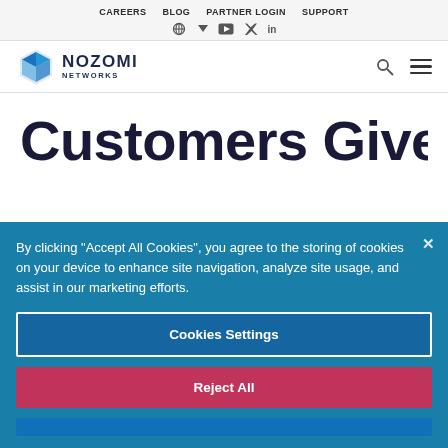CAREERS  BLOG  PARTNER LOGIN  SUPPORT
[Figure (logo): Nozomi Networks logo with diamond/chevron icon and text NOZOMI NETWORKS]
Customers Give
By clicking “Accept All Cookies”, you agree to the storing of cookies on your device to enhance site navigation, analyze site usage, and assist in our marketing efforts.
Cookies Settings
Reject All